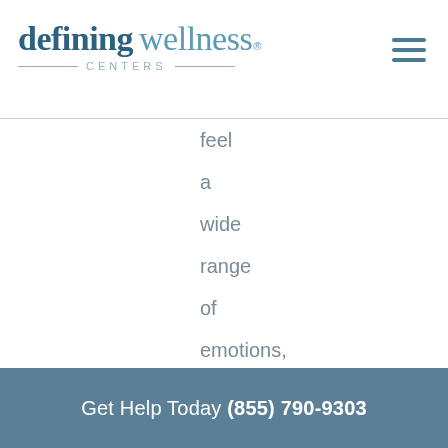defining wellness® CENTERS
feel

a

wide

range

of

emotions,

including

fear,

embarrassment,

sadness,
Get Help Today (855) 790-9303